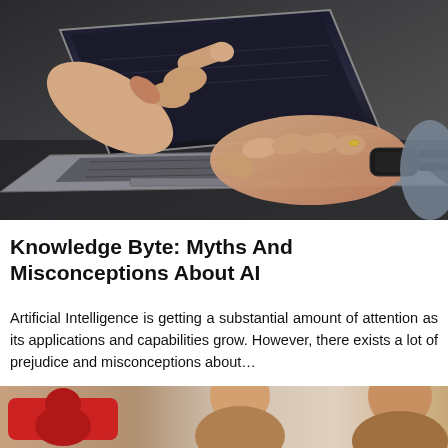[Figure (photo): Close-up photo of two people's hands at a laptop: one hand pointing at the screen with an index finger, the other hand resting on the keyboard/trackpad. The person on the right wears a black smart watch and a ring. Dark background.]
Knowledge Byte: Myths And Misconceptions About AI
Artificial Intelligence is getting a substantial amount of attention as its applications and capabilities grow. However, there exists a lot of prejudice and misconceptions about…
[Figure (photo): Partially visible bottom photo strip showing people, cropped at the bottom of the page.]